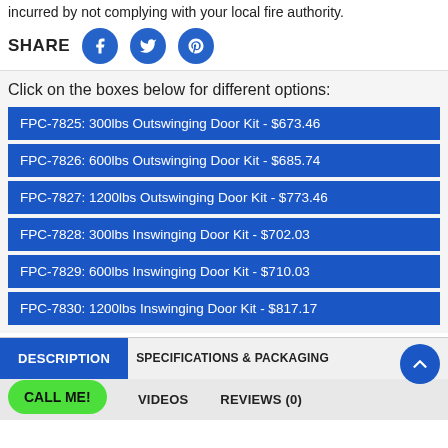incurred by not complying with your local fire authority.
SHARE
Click on the boxes below for different options:
FPC-7825: 300lbs Outswinging Door Kit - $673.46
FPC-7826: 600lbs Outswinging Door Kit - $685.74
FPC-7827: 1200lbs Outswinging Door Kit - $773.46
FPC-7828: 300lbs Inswinging Door Kit - $702.03
FPC-7829: 600lbs Inswinging Door Kit - $710.03
FPC-7830: 1200lbs Inswinging Door Kit - $817.17
DESCRIPTION
SPECIFICATIONS & PACKAGING
VIDEOS
REVIEWS (0)
CALL ME!